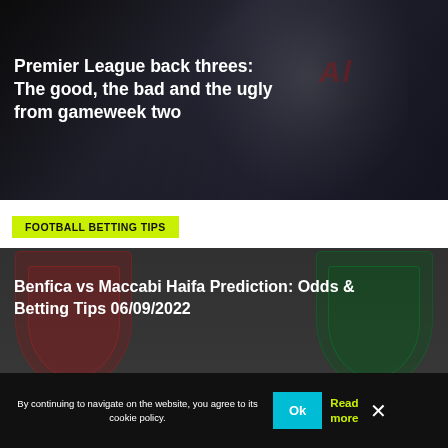[Figure (photo): Dark background photo of a football player in a white jersey raising arms, partially visible, with overlay text]
Premier League back threes: The good, the bad and the ugly from gameweek two
FOOTBALL BETTING TIPS
[Figure (photo): Dark background image showing Benfica and Maccabi Haifa team badge/crests on either side with article title overlaid]
Benfica vs Maccabi Haifa Prediction: Odds & Betting Tips 06/09/2022
By continuing to navigate on the website, you agree to its cookie policy.